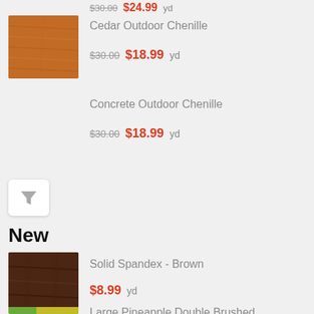$30.00  $24.99  yd
[Figure (photo): Cedar colored outdoor chenille fabric swatch - orange-brown textured surface]
Cedar Outdoor Chenille
$30.00  $18.99  yd
Concrete Outdoor Chenille
$30.00  $18.99  yd
New
[Figure (photo): Dark brown solid spandex fabric with sheen]
Solid Spandex - Brown
$8.99  yd
[Figure (photo): Large Pineapple Double Brushed Spandex Jersey fabric - Eggshell color with pineapple print]
Large Pineapple Double Brushed Spandex Jersey - Eggshell